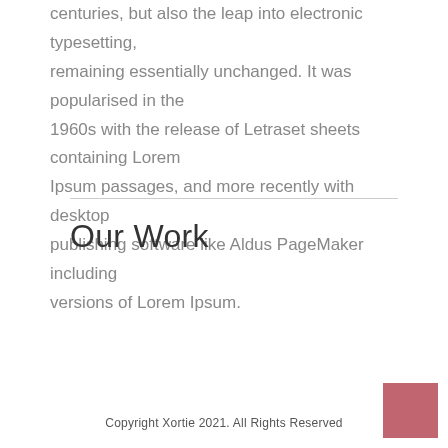centuries, but also the leap into electronic typesetting, remaining essentially unchanged. It was popularised in the 1960s with the release of Letraset sheets containing Lorem Ipsum passages, and more recently with desktop publishing software like Aldus PageMaker including versions of Lorem Ipsum.
Our Work
Copyright Xortie 2021. All Rights Reserved